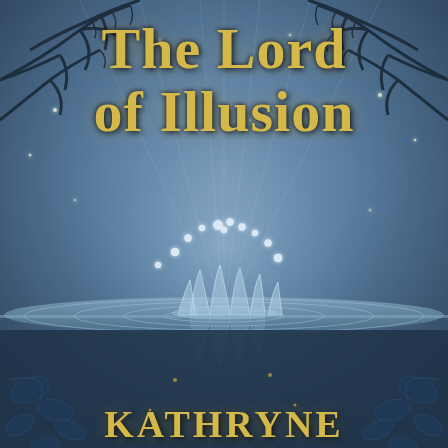[Figure (illustration): Book cover for 'The Lord of Illusion' by Kathryne. The background features a moody blue-grey twilight scene with bare, dark tree branches reaching across the top corners. A mystical water crown splash sits in the center, with water droplets suspended above it forming an arc. The water surface creates circular ripples. Below the waterline the crown is reflected, and the lower portion shows dark ornamental leaf and floral decorations on a deep blue background. Small glowing lights (fireflies or stars) are scattered throughout.]
The Lord of Illusion
KATHRYNE